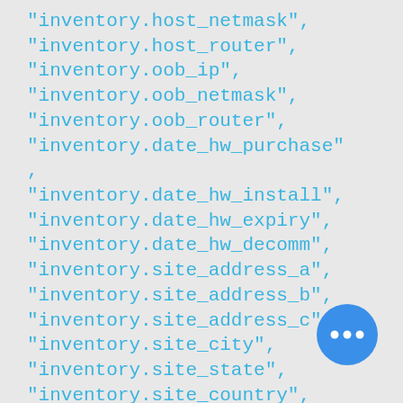"inventory.host_netmask",
"inventory.host_router",
"inventory.oob_ip",
"inventory.oob_netmask",
"inventory.oob_router",
"inventory.date_hw_purchase"
,
"inventory.date_hw_install",
"inventory.date_hw_expiry",
"inventory.date_hw_decomm",
"inventory.site_address_a",
"inventory.site_address_b",
"inventory.site_address_c",
"inventory.site_city",
"inventory.site_state",
"inventory.site_country",
"inventory.site_zip",
"inventory.site_rack",
"inventory.site_notes",